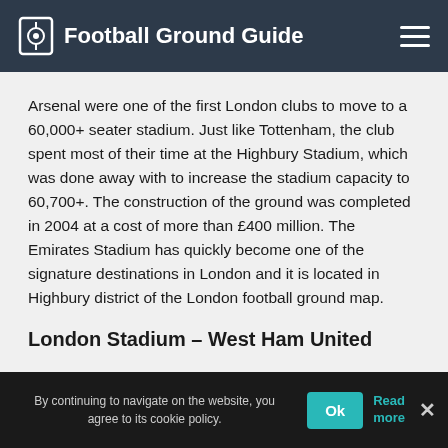Football Ground Guide
Arsenal were one of the first London clubs to move to a 60,000+ seater stadium. Just like Tottenham, the club spent most of their time at the Highbury Stadium, which was done away with to increase the stadium capacity to 60,700+. The construction of the ground was completed in 2004 at a cost of more than £400 million. The Emirates Stadium has quickly become one of the signature destinations in London and it is located in Highbury district of the London football ground map.
London Stadium – West Ham United
By continuing to navigate on the website, you agree to its cookie policy.